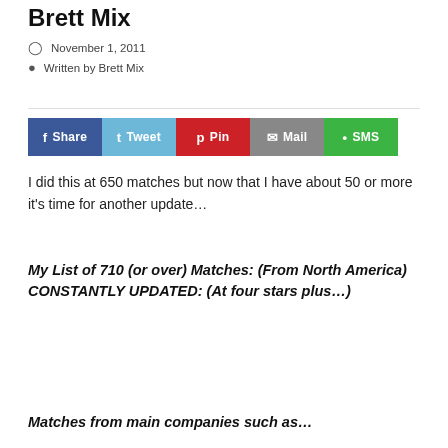Brett Mix
November 1, 2011
Written by Brett Mix
[Figure (infographic): Social sharing buttons: Share (Facebook, blue), Tweet (Twitter, light blue), Pin (Pinterest, red), Mail (grey), SMS (green)]
I did this at 650 matches but now that I have about 50 or more it's time for another update…
My List of 710 (or over) Matches: (From North America)  CONSTANTLY UPDATED: (At four stars plus…)
Matches from main companies such as…